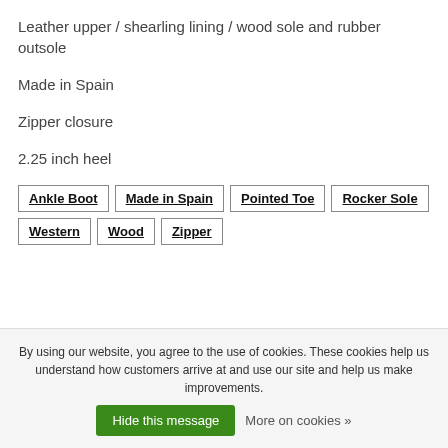Leather upper / shearling lining / wood sole and rubber outsole
Made in Spain
Zipper closure
2.25 inch heel
Ankle Boot
Made in Spain
Pointed Toe
Rocker Sole
Western
Wood
Zipper
By using our website, you agree to the use of cookies. These cookies help us understand how customers arrive at and use our site and help us make improvements.
Hide this message
More on cookies »